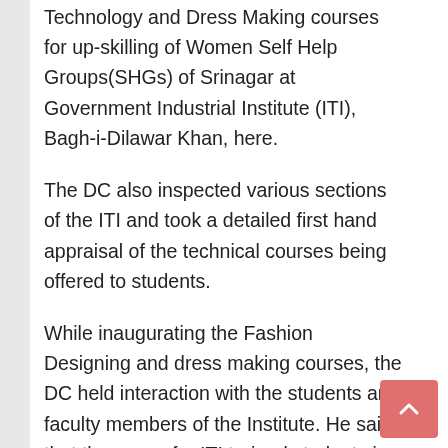Technology and Dress Making courses for up-skilling of Women Self Help Groups(SHGs) of Srinagar at Government Industrial Institute (ITI), Bagh-i-Dilawar Khan, here.
The DC also inspected various sections of the ITI and took a detailed first hand appraisal of the technical courses being offered to students.
While inaugurating the Fashion Designing and dress making courses, the DC held interaction with the students and faculty members of the Institute. He said that the scope for ITI trained students is growing rapidly and faculty should help students to know about emerging developments in the industry.